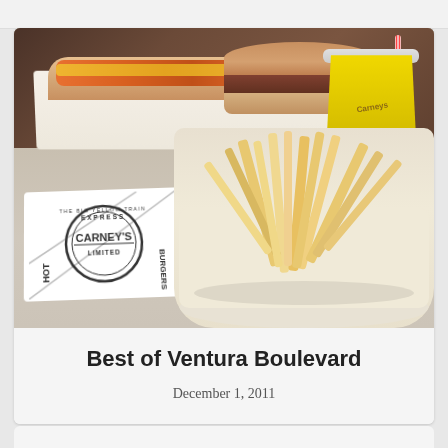[Figure (photo): A food photo showing a chili cheese hot dog and burger in paper wrappers, a container of french fries in a white paper boat, and a yellow branded drink cup with straw. The Carney's Express Limited Hot Dog Burgers logo is visible on the paper wrapping in the foreground.]
Best of Ventura Boulevard
December 1, 2011